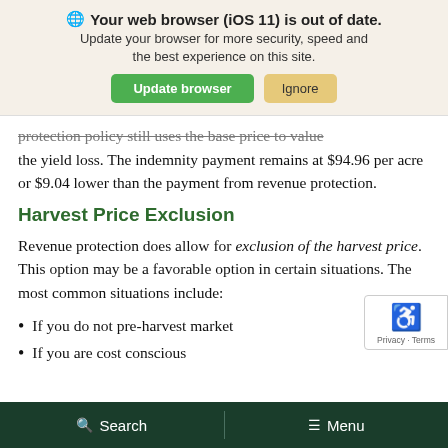[Figure (screenshot): Browser update notification banner with globe icon, bold text 'Your web browser (iOS 11) is out of date.', subtitle text, green 'Update browser' button and tan 'Ignore' button]
protection policy still uses the base price to value the yield loss. The indemnity payment remains at $94.96 per acre or $9.04 lower than the payment from revenue protection.
Harvest Price Exclusion
Revenue protection does allow for exclusion of the harvest price. This option may be a favorable option in certain situations. The most common situations include:
If you do not pre-harvest market
If you are cost conscious
Search   Menu